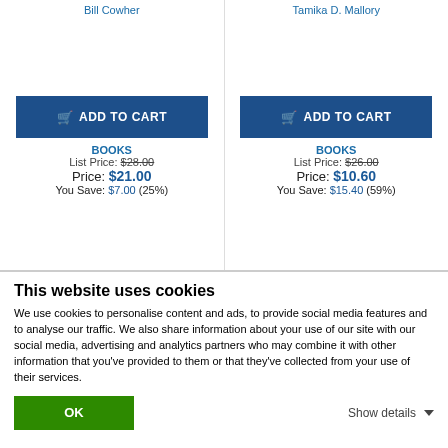Bill Cowher
Tamika D. Mallory
[Figure (other): ADD TO CART button (left)]
[Figure (other): ADD TO CART button (right)]
BOOKS
List Price: $28.00
Price: $21.00
You Save: $7.00 (25%)
BOOKS
List Price: $26.00
Price: $10.60
You Save: $15.40 (59%)
This website uses cookies
We use cookies to personalise content and ads, to provide social media features and to analyse our traffic. We also share information about your use of our site with our social media, advertising and analytics partners who may combine it with other information that you've provided to them or that they've collected from your use of their services.
OK
Show details